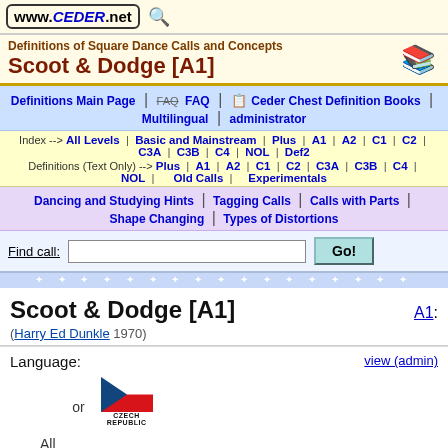www.CEDER.net
Definitions of Square Dance Calls and Concepts — Scoot & Dodge [A1]
Definitions Main Page | FAQ | Ceder Chest Definition Books | Multilingual | administrator
Index --> All Levels | Basic and Mainstream | Plus | A1 | A2 | C1 | C2 | C3A | C3B | C4 | NOL | Def2
Definitions (Text Only) --> Plus | A1 | A2 | C1 | C2 | C3A | C3B | C4 | NOL | Old Calls | Experimentals
Dancing and Studying Hints | Tagging Calls | Calls with Parts | Shape Changing | Types of Distortions
Find call: [input] Go!
Scoot & Dodge [A1]
A1:
(Harry Ed Dunkle 1970)
Language: view (admin)
or   [Czech Republic flag]
All